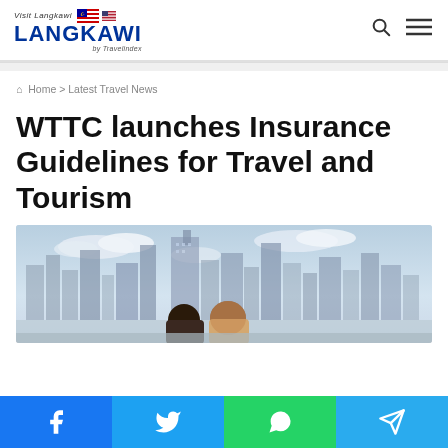Visit Langkawi LANGKAWI by Travelindex
Home > Latest Travel News
WTTC launches Insurance Guidelines for Travel and Tourism
[Figure (photo): Two people viewed from behind looking at a city skyline with tall buildings and cloudy sky]
Facebook | Twitter | WhatsApp | Telegram